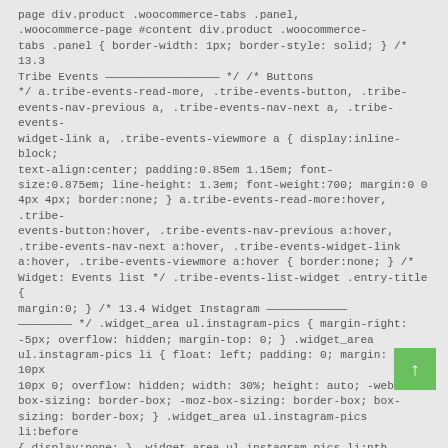page div.product .woocommerce-tabs .panel, .woocommerce-page #content div.product .woocommerce-tabs .panel { border-width: 1px; border-style: solid; } /* 13.3 Tribe Events ————————————————— */ /* Buttons */ a.tribe-events-read-more, .tribe-events-button, .tribe-events-nav-previous a, .tribe-events-nav-next a, .tribe-events-widget-link a, .tribe-events-viewmore a { display:inline-block; text-align:center; padding:0.85em 1.15em; font-size:0.875em; line-height: 1.3em; font-weight:700; margin:0 0 4px 4px; border:none; } a.tribe-events-read-more:hover, .tribe-events-button:hover, .tribe-events-nav-previous a:hover, .tribe-events-nav-next a:hover, .tribe-events-widget-link a:hover, .tribe-events-viewmore a:hover { border:none; } /* Widget: Events list */ .tribe-events-list-widget .entry-title { margin:0; } /* 13.4 Widget Instagram ————————————————————— */ .widget_area ul.instagram-pics { margin-right: -5px; overflow: hidden; margin-top: 0; } .widget_area ul.instagram-pics li { float: left; padding: 0; margin: 0 10px 10px 0; overflow: hidden; width: 30%; height: auto; -webkit-box-sizing: border-box; -moz-box-sizing: border-box; box-sizing: border-box; } .widget_area ul.instagram-pics li:before { display:none; } .widget_area ul.instagram-pics li:nth-child(3n) { margin-right: 0; } /* 13.5 Booking Calendar ————————————————————— */ .booking_border_t_1 { padding-top:1em; } .booking_float_left input[type="checkbox"] {
[Figure (other): Green scroll-to-top button with upward arrow]